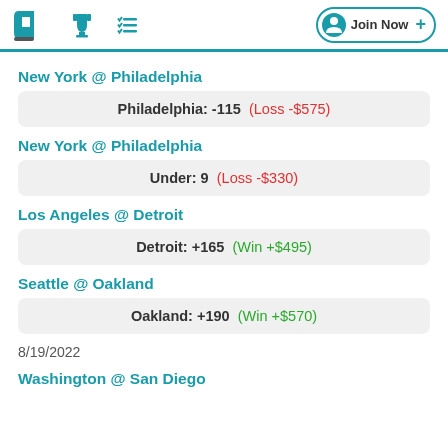PL [logo] [trophy icon] [list icon] Join Now
New York @ Philadelphia
Philadelphia: -115  (Loss -$575)
New York @ Philadelphia
Under: 9  (Loss -$330)
Los Angeles @ Detroit
Detroit: +165  (Win +$495)
Seattle @ Oakland
Oakland: +190  (Win +$570)
8/19/2022
Washington @ San Diego